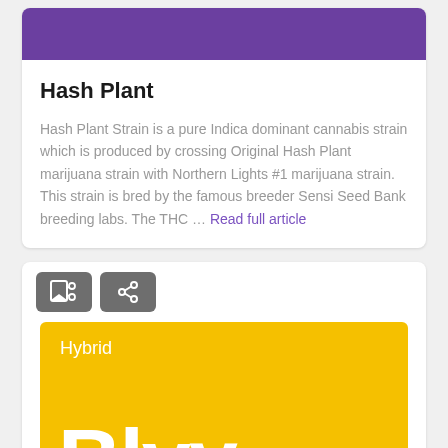[Figure (illustration): Purple banner image at top of Hash Plant card]
Hash Plant
Hash Plant Strain is a pure Indica dominant cannabis strain which is produced by crossing Original Hash Plant marijuana strain with Northern Lights #1 marijuana strain. This strain is bred by the famous breeder Sensi Seed Bank breeding labs. The THC … Read full article
[Figure (illustration): Bookmark and share icon buttons on dark grey background]
[Figure (illustration): Yellow banner with Hybrid label and large partial text 'Blvy']